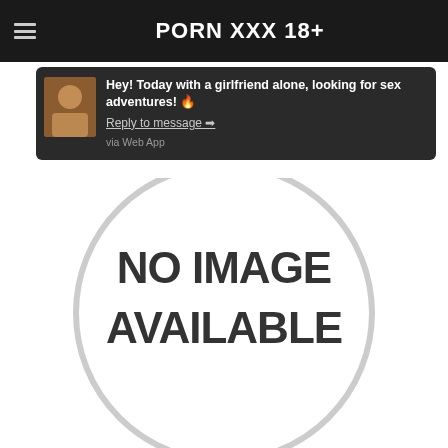PORN XXX 18+
Hey! Today with a girlfriend alone, looking for sex adventures! 🔥
Reply to message →
via Web App
[Figure (illustration): Circle placeholder graphic with text NO IMAGE AVAILABLE]